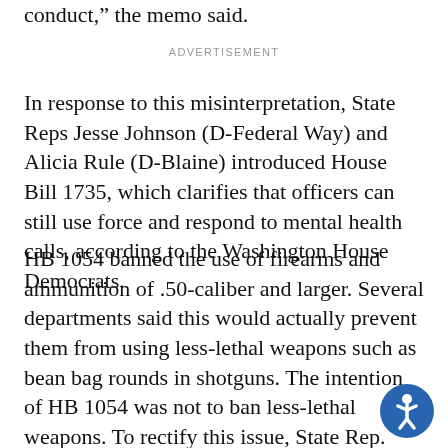conduct," the memo said.
ADVERTISEMENT
In response to this misinterpretation, State Reps Jesse Johnson (D-Federal Way) and Alicia Rule (D-Blaine) introduced House Bill 1735, which clarifies that officers can still use force and respond to mental health calls, according to the Washington House Democrats.
HB 1054 banned the use of firearms and ammunition of .50-caliber and larger. Several departments said this would actually prevent them from using less-lethal weapons such as bean bag rounds in shotguns. The intention of HB 1054 was not to ban less-lethal weapons. To rectify this issue, State Rep. Dan Bronoske (D-Lakewood) sponsored House Bill 1, which states that the less-lethal...